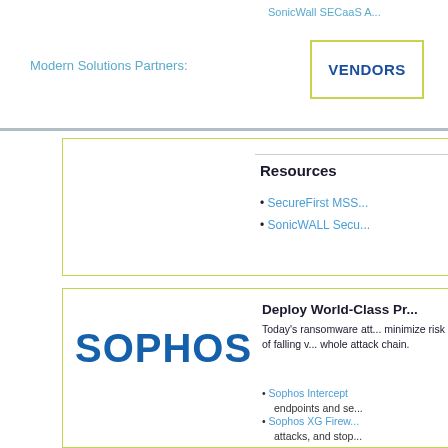SonicWall SECaaS A...
Modern Solutions Partners:
VENDORS
Resources
SecureFirst MSS...
SonicWALL Secu...
[Figure (logo): Sophos company logo in bold blue text]
Deploy World-Class Pr...
Today's ransomware att... minimize risk of falling v... whole attack chain.
Sophos Intercept... endpoints and se...
Sophos XG Firew... attacks, and stop...
Sophos Managed... Dedicated, roun... for and act on su...